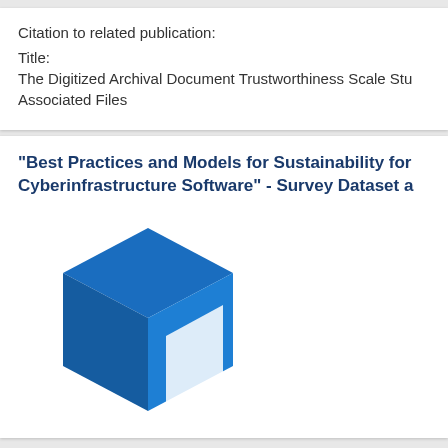Citation to related publication:
Title:
The Digitized Archival Document Trustworthiness Scale Stu... Associated Files
"Best Practices and Models for Sustainability for Cyberinfrastructure Software" - Survey Dataset a
[Figure (illustration): Blue 3D cube icon representing a dataset or package]